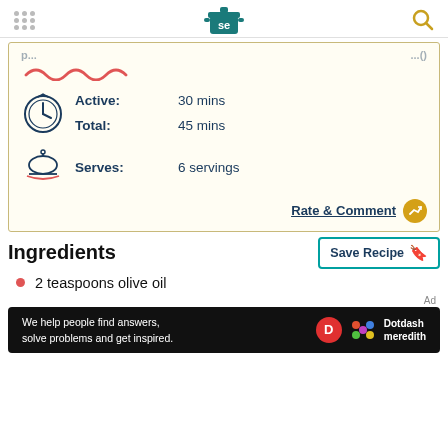Serious Eats logo and navigation
Active: 30 mins
Total: 45 mins
Serves: 6 servings
Rate & Comment
Ingredients
Save Recipe
2 teaspoons olive oil
We help people find answers, solve problems and get inspired. Dotdash meredith